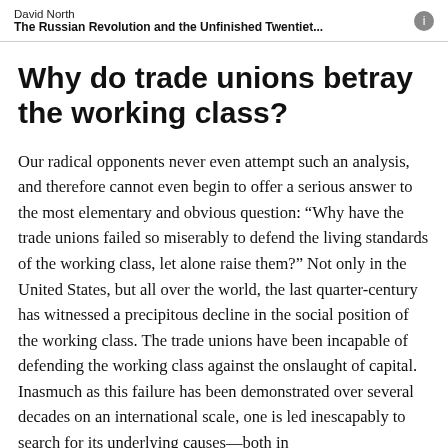David North
The Russian Revolution and the Unfinished Twentiet...
Why do trade unions betray the working class?
Our radical opponents never even attempt such an analysis, and therefore cannot even begin to offer a serious answer to the most elementary and obvious question: “Why have the trade unions failed so miserably to defend the living standards of the working class, let alone raise them?” Not only in the United States, but all over the world, the last quarter-century has witnessed a precipitous decline in the social position of the working class. The trade unions have been incapable of defending the working class against the onslaught of capital. Inasmuch as this failure has been demonstrated over several decades on an international scale, one is led inescapably to search for its underlying causes—both in